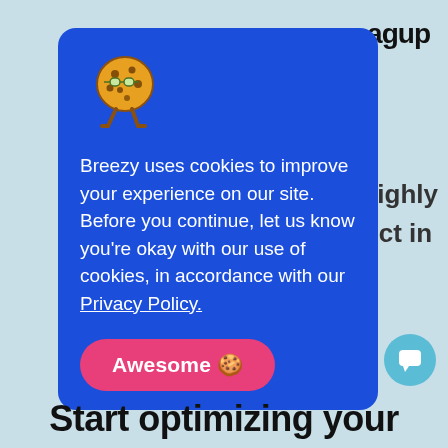agup
[Figure (illustration): Cookie mascot character - a round cookie with glasses and legs]
Breezy uses cookies to improve your experience on our site. Before you continue, let us know you're okay with our use of cookies, in accordance with our Privacy Policy.
Awesome 🍪
st highly
oduct in
[Figure (illustration): Chat bubble icon in teal circle]
Start optimizing your